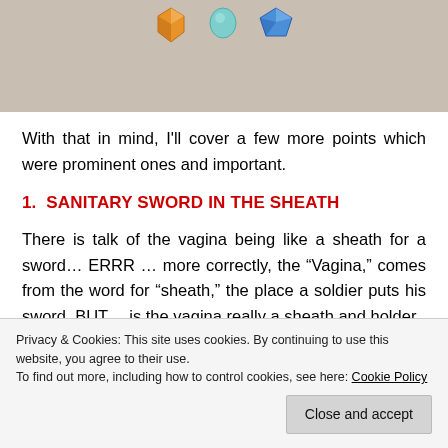[Figure (illustration): Top portion of a webpage showing decorative gem/crystal icons (orange, teal, blue) on a beige/tan background]
With that in mind, I'll cover a few more points which were prominent ones and important.
1.  SANITARY SWORD IN THE SHEATH
There is talk of the vagina being like a sheath for a sword... ERRR ... more correctly, the “Vagina,” comes from the word for “sheath,” the place a soldier puts his sword. BUT... is the vagina really a sheath and holder
Privacy & Cookies: This site uses cookies. By continuing to use this website, you agree to their use.
To find out more, including how to control cookies, see here: Cookie Policy
Close and accept